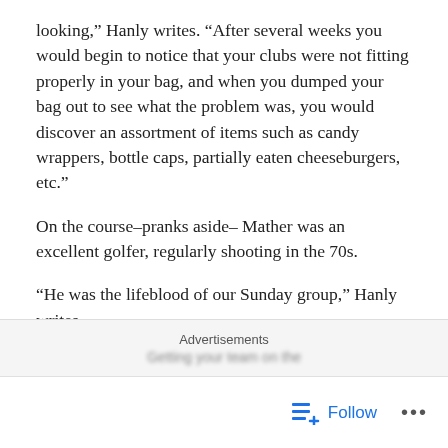looking," Hanly writes. "After several weeks you would begin to notice that your clubs were not fitting properly in your bag, and when you dumped your bag out to see what the problem was, you would discover an assortment of items such as candy wrappers, bottle caps, partially eaten cheeseburgers, etc."
On the course–pranks aside– Mather was an excellent golfer, regularly shooting in the 70s.
“He was the lifeblood of our Sunday group,” Hanly writes.
Actuarial System Engineer Lee Lawrence, current tournament coordinator, joined the company just before Mather passed. He didn't have the chance to know Mather very well, but he still recalls with a smile one thing Mather told him. His shoes were ugly
Advertisements
Follow ...